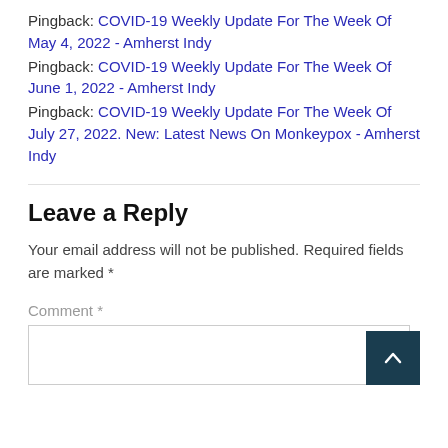Pingback: COVID-19 Weekly Update For The Week Of May 4, 2022 - Amherst Indy
Pingback: COVID-19 Weekly Update For The Week Of June 1, 2022 - Amherst Indy
Pingback: COVID-19 Weekly Update For The Week Of July 27, 2022. New: Latest News On Monkeypox - Amherst Indy
Leave a Reply
Your email address will not be published. Required fields are marked *
Comment *